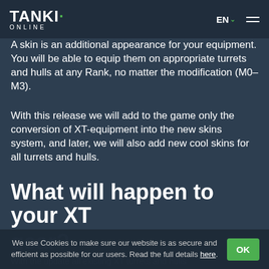TANKI· ONLINE  EN  ☰
A skin is an additional appearance for your equipment. You will be able to equip them on appropriate turrets and hulls at any Rank, no matter the modification (M0-M3).
With this release we will add to the game only the conversion of XT-equipment into the new skins system, and later, we will also add new cool skins for all turrets and hulls.
What will happen to your XT gear?
We use Cookies to make sure our website is as secure and efficient as possible for our users. Read the full details here.
With the update all existing XT turrets and hulls